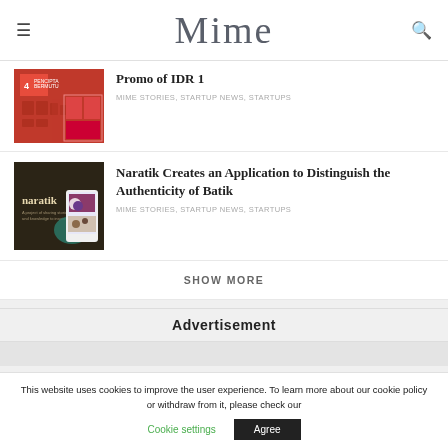Mime
Promo of IDR 1
MIME STORIES, STARTUP NEWS, STARTUPS
Naratik Creates an Application to Distinguish the Authenticity of Batik
MIME STORIES, STARTUP NEWS, STARTUPS
SHOW MORE
Advertisement
This website uses cookies to improve the user experience. To learn more about our cookie policy or withdraw from it, please check our
Cookie settings
Agree